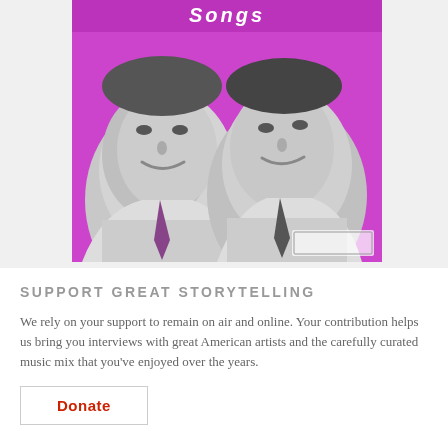[Figure (photo): Vintage black and white photo of two smiling men in suits on a magenta/pink background, with stylized text at top. Appears to be an album cover or promotional material.]
SUPPORT GREAT STORYTELLING
We rely on your support to remain on air and online. Your contribution helps us bring you interviews with great American artists and the carefully curated music mix that you've enjoyed over the years.
Donate
AMERICAN ROUTES ON INSTAGRAM